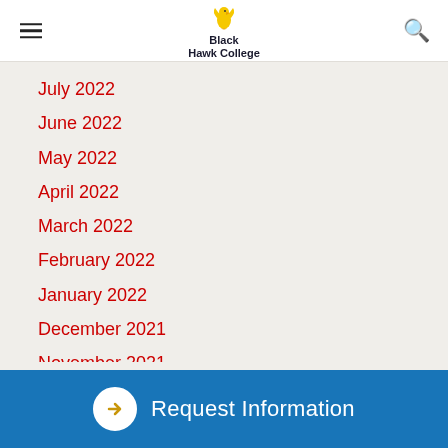Black Hawk College
July 2022
June 2022
May 2022
April 2022
March 2022
February 2022
January 2022
December 2021
November 2021
October 2021
September 2021
Request Information